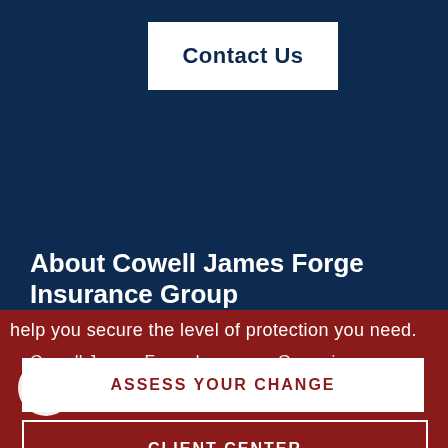Contact Us
About Cowell James Forge Insurance Group
Cowell James Forge Insurance Group is an independent insurance agency
help you secure the level of protection you need.
Assess Your Change
Client Center